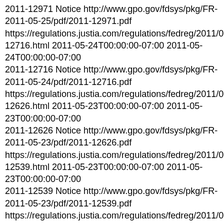2011-12971 Notice http://www.gpo.gov/fdsys/pkg/FR-2011-05-25/pdf/2011-12971.pdf https://regulations.justia.com/regulations/fedreg/2011/05/24/2011-12716.html 2011-05-24T00:00:00-07:00 2011-05-24T00:00:00-07:00
2011-12716 Notice http://www.gpo.gov/fdsys/pkg/FR-2011-05-24/pdf/2011-12716.pdf https://regulations.justia.com/regulations/fedreg/2011/05/23/2011-12626.html 2011-05-23T00:00:00-07:00 2011-05-23T00:00:00-07:00
2011-12626 Notice http://www.gpo.gov/fdsys/pkg/FR-2011-05-23/pdf/2011-12626.pdf https://regulations.justia.com/regulations/fedreg/2011/05/23/2011-12539.html 2011-05-23T00:00:00-07:00 2011-05-23T00:00:00-07:00
2011-12539 Notice http://www.gpo.gov/fdsys/pkg/FR-2011-05-23/pdf/2011-12539.pdf https://regulations.justia.com/regulations/fedreg/2011/05/23/2011-12528.html 2011-05-23T00:00:00-07:00 2011-05-23T00:00:00-07:00
2011-12528 Notice http://www.gpo.gov/fdsys/pkg/FR-2011-05-23/pdf/2011-12528.pdf https://regulations.justia.com/regulations/fedreg/2011/05/20/2011-12516.html 2011-05-20T00:00:00-07:00 2011-05-20T00:00:00-07:00
2011-12516 Notice http://www.gpo.gov/fdsys/pkg/FR-2011-05-